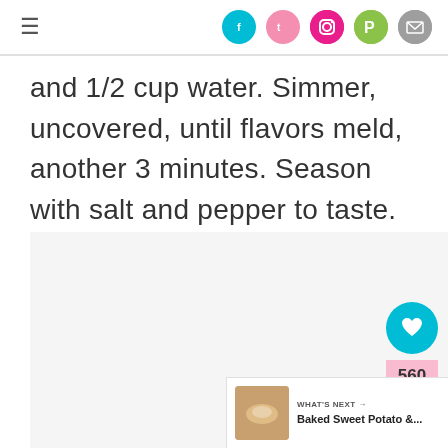≡ [social icons: Facebook, Twitter, Instagram, Pinterest, Email]
and 1/2 cup water. Simmer, uncovered, until flavors meld, another 3 minutes. Season with salt and pepper to taste.
[Figure (photo): Light gray image placeholder area]
560
WHAT'S NEXT → Baked Sweet Potato &...